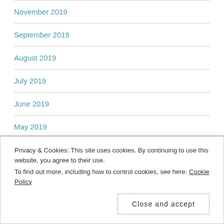November 2019
September 2019
August 2019
July 2019
June 2019
May 2019
April 2019
March 2019
Privacy & Cookies: This site uses cookies. By continuing to use this website, you agree to their use.
To find out more, including how to control cookies, see here: Cookie Policy
Close and accept